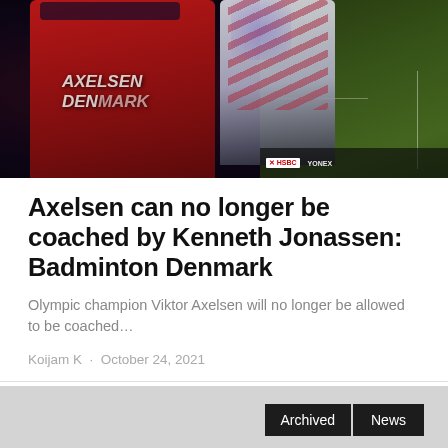[Figure (photo): Badminton match photo showing player in red AXELSEN DENMARK jersey from behind, facing opponent in striped white/red jersey, with green badminton court and sponsor banners in background]
Axelsen can no longer be coached by Kenneth Jonassen: Badminton Denmark
Olympic champion Viktor Axelsen will no longer be allowed to be coached…
Koijam K  ·  October 24, 2021